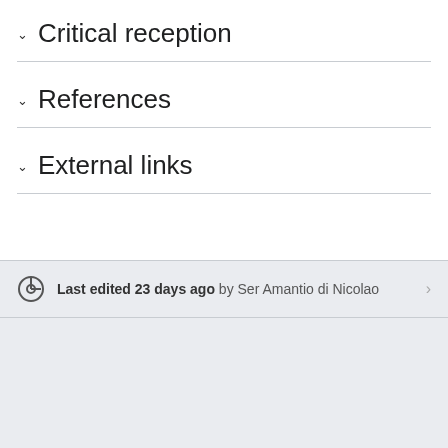∨ Critical reception
∨ References
∨ External links
Last edited 23 days ago by Ser Amantio di Nicolao